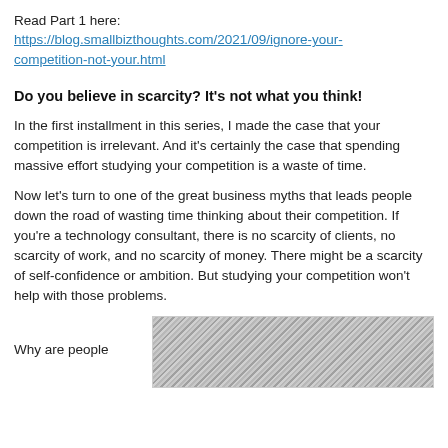Read Part 1 here:
https://blog.smallbizthoughts.com/2021/09/ignore-your-competition-not-your.html
Do you believe in scarcity? It's not what you think!
In the first installment in this series, I made the case that your competition is irrelevant. And it's certainly the case that spending massive effort studying your competition is a waste of time.
Now let's turn to one of the great business myths that leads people down the road of wasting time thinking about their competition. If you're a technology consultant, there is no scarcity of clients, no scarcity of work, and no scarcity of money. There might be a scarcity of self-confidence or ambition. But studying your competition won't help with those problems.
Why are people
[Figure (photo): A grayscale image showing a repeating diagonal pattern, likely rows of crops or a textured surface viewed from an angle.]